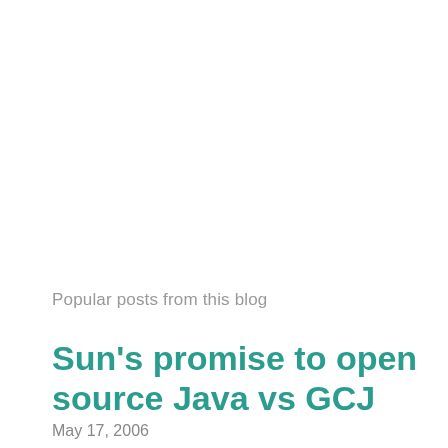Popular posts from this blog
Sun's promise to open source Java vs GCJ
May 17, 2006